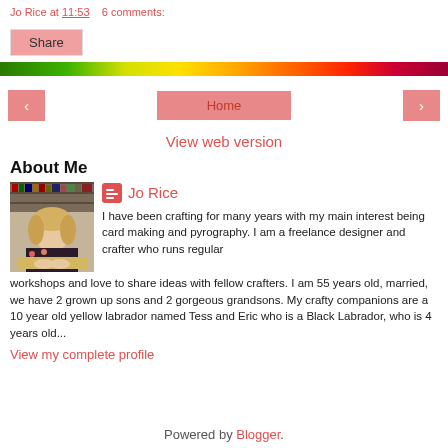Jo Rice at 11:53    6 comments:
Share
[Figure (illustration): Rainbow colored horizontal divider bar]
‹   Home   ›
View web version
About Me
[Figure (photo): Profile photo of Jo Rice, a blonde woman sitting at a table with books in background]
Jo Rice
I have been crafting for many years with my main interest being card making and pyrography. I am a freelance designer and crafter who runs regular workshops and love to share ideas with fellow crafters. I am 55 years old, married, we have 2 grown up sons and 2 gorgeous grandsons. My crafty companions are a 10 year old yellow labrador named Tess and Eric who is a Black Labrador, who is 4 years old...
View my complete profile
Powered by Blogger.